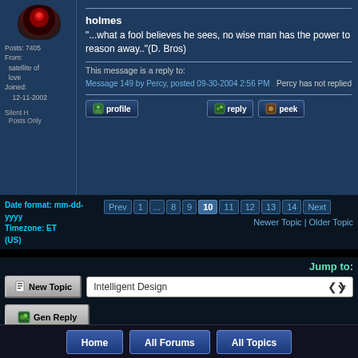[Figure (photo): Dark avatar image with reddish circular element]
Posts: 7405
From:
    satellite of love
Joined:
    12-11-2002
holmes
"...what a fool believes he sees, no wise man has the power to reason away.."(D. Bros)
This message is a reply to:
Message 149 by Percy, posted 09-30-2004 2:56 PM
Percy has not replied
Silent H
Posts Only
Date format: mm-dd-yyyy
Timezone: ET (US)
Prev 1 ... 8 9 10 11 12 13 14 Next
Newer Topic | Older Topic
Jump to:
New Topic
Intelligent Design
Gen Reply
Home    All Forums    All Topics